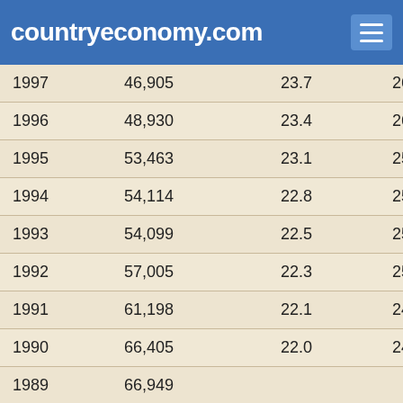countryeconomy.com
| Year | Value | Col3 | Col4 |
| --- | --- | --- | --- |
| 1997 | 46,905 | 23.7 | 26 |
| 1996 | 48,930 | 23.4 | 26 |
| 1995 | 53,463 | 23.1 | 25 |
| 1994 | 54,114 | 22.8 | 25 |
| 1993 | 54,099 | 22.5 | 25 |
| 1992 | 57,005 | 22.3 | 25 |
| 1991 | 61,198 | 22.1 | 24 |
| 1990 | 66,405 | 22.0 | 24 |
| 1989 | 66,949 |  |  |
| 1988 | 65,907 |  |  |
| 1987 | 66,082 |  |  |
| 1986 | 72,434 |  |  |
| 1985 | 73,238 |  |  |
| 1984 | 74,951 |  |  |
| 1983 | 75,969 |  |  |